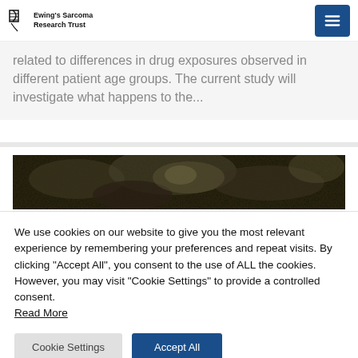Ewing's Sarcoma Research Trust
related to differences in drug exposures observed in different patient age groups. The current study will investigate what happens to the…
[Figure (photo): Dark close-up photograph, appears to show organic/biological material]
We use cookies on our website to give you the most relevant experience by remembering your preferences and repeat visits. By clicking "Accept All", you consent to the use of ALL the cookies. However, you may visit "Cookie Settings" to provide a controlled consent. Read More
Cookie Settings | Accept All